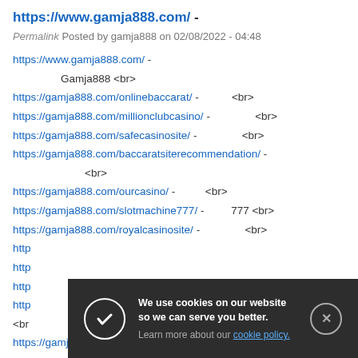https://www.gamja888.com/ -
Permalink Posted by gamja888 on 02/08/2022 - 04:48
https://www.gamja888.com/ -
        Gamja888 <br>
https://gamja888.com/onlinebaccarat/ -           <br>
https://gamja888.com/millionclubcasino/ -               <br>
https://gamja888.com/safecasinosite/ -               <br>
https://gamja888.com/baccaratsiterecommendation/ -
        <br>
https://gamja888.com/ourcasino/ -          <br>
https://gamja888.com/slotmachine777/ -         777 <br>
https://gamja888.com/royalcasinosite/ -               <br>
https://gamja888.com/safebaccaratsite/ -              <br>
[Figure (screenshot): Cookie consent banner with dark background. Text reads: 'We use cookies on our website so we can serve you better.' and 'Learn more about our cookie policy.' with a checkmark icon on the left and a close (X) button on the right.]